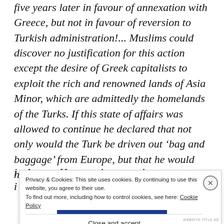five years later in favour of annexation with Greece, but not in favour of reversion to Turkish administration!... Muslims could discover no justification for this action except the desire of Greek capitalists to exploit the rich and renowned lands of Asia Minor, which are admittedly the homelands of the Turks. If this state of affairs was allowed to continue he declared that not only would the Turk be driven out ‘bag and baggage’ from Europe, but that he would have no ‘bag and baggage’ left to him even i…
Privacy & Cookies: This site uses cookies. By continuing to use this website, you agree to their use.
To find out more, including how to control cookies, see here: Cookie Policy
Close and accept